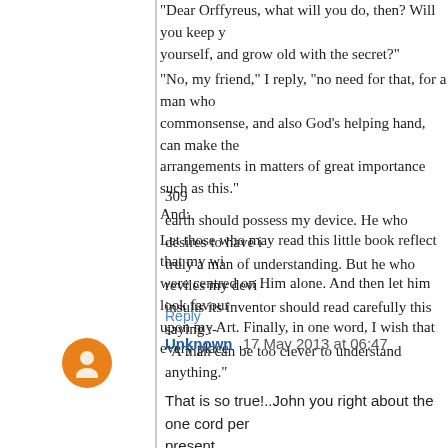"Dear Orffyreus, what will you do, then? Will you keep yourself, and grow old with the secret?" "No, my friend," I reply, "no need for that, for a man who commonsense, and also God's helping hand, can make the arrangements in matters of great importance such as this." And:
Let those who may read this little book reflect that my wi were centred on Him alone. And then let him look favour upon my Art. Finally, in one word, I wish that every place
309
earth should possess my device. He who desires to have i truly a man of understanding. But he who reviles my devi insults its inventor should read carefully this saying :- "A man can be too clever to understand anything."
Reply
Unknown  17 May 2013 at 06:47
That is so true!..John you right about the one cord per present.